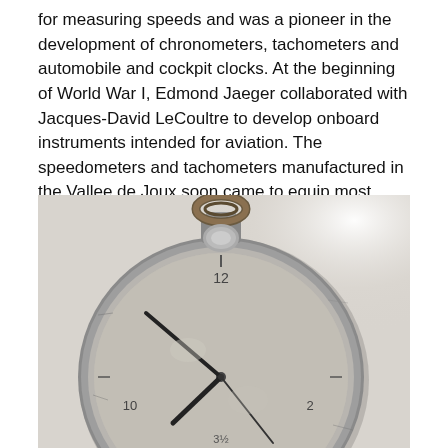for measuring speeds and was a pioneer in the development of chronometers, tachometers and automobile and cockpit clocks. At the beginning of World War I, Edmond Jaeger collaborated with Jacques-David LeCoultre to develop onboard instruments intended for aviation. The speedometers and tachometers manufactured in the Vallee de Joux soon came to equip most planes in the French, English and U.S. air forces of this period
[Figure (photo): A vintage pocket watch photographed from above on a light grey/white surface. The watch has a weathered silver case with visible wear and patina. It has a large winding crown with a looped ring on top. The dial is aged and shows numbers 10, 12, and 2 visible, with black hands pointing approximately to 10:10. The watch appears to be an antique military or aviation pocket watch.]